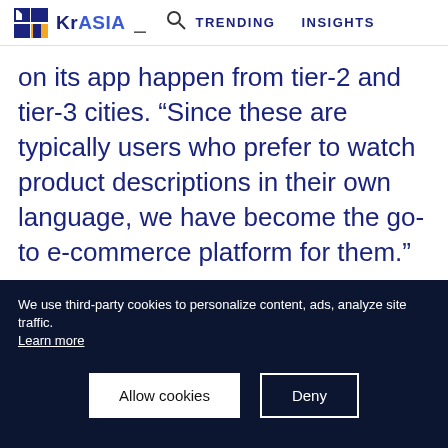KrASIA  =  [search]  TRENDING  INSIGHTS
on its app happen from tier-2 and tier-3 cities. “Since these are typically users who prefer to watch product descriptions in their own language, we have become the go-to e-commerce platform for them.”
For KukuFM and Pratiipi, 82% and 47% of users respectively, who pay for premium services come from small cities. “People
We use third-party cookies to personalize content, ads, analyze site traffic.
Learn more
Allow cookies
Deny